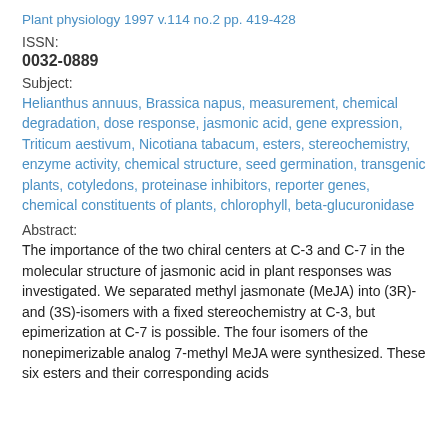Plant physiology 1997 v.114 no.2 pp. 419-428
ISSN:
0032-0889
Subject:
Helianthus annuus, Brassica napus, measurement, chemical degradation, dose response, jasmonic acid, gene expression, Triticum aestivum, Nicotiana tabacum, esters, stereochemistry, enzyme activity, chemical structure, seed germination, transgenic plants, cotyledons, proteinase inhibitors, reporter genes, chemical constituents of plants, chlorophyll, beta-glucuronidase
Abstract:
The importance of the two chiral centers at C-3 and C-7 in the molecular structure of jasmonic acid in plant responses was investigated. We separated methyl jasmonate (MeJA) into (3R)- and (3S)-isomers with a fixed stereochemistry at C-3, but epimerization at C-7 is possible. The four isomers of the nonepimerizable analog 7-methyl MeJA were synthesized. These six esters and their corresponding acids